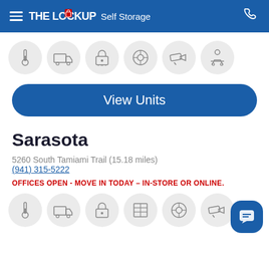THE LOCKUP Self Storage
[Figure (infographic): Row of 6 circular icons representing storage features: thermometer (climate control), moving truck, padlock with stars, wheel/tire, security camera, car with person]
View Units
Sarasota
5260 South Tamiami Trail (15.18 miles)
(941) 315-5222
OFFICES OPEN - MOVE IN TODAY – IN-STORE OR ONLINE.
[Figure (infographic): Row of 6 circular icons representing storage features: thermometer, moving truck, padlock with stars, shelving/locker, wheel, security camera]